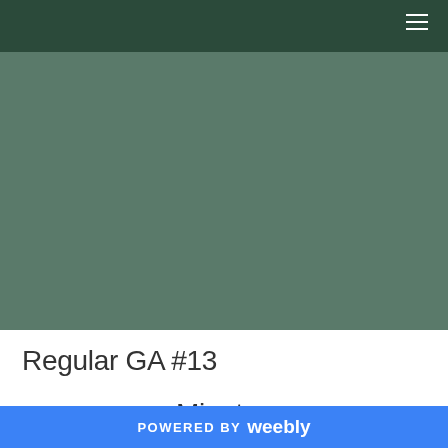[Figure (photo): Large muted green-grey rectangular banner/hero image area]
Regular GA #13
Minutes
POWERED BY weebly